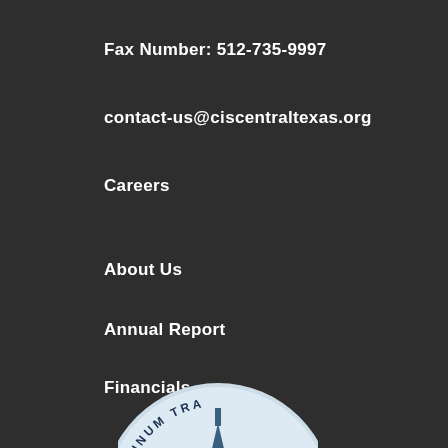Fax Number: 512-735-9997
contact-us@ciscentraltexas.org
Careers
About Us
Annual Report
Financials
CIS National Office
Donate
[Figure (logo): Platinum Transparency badge/seal logo, partially visible at bottom of page]